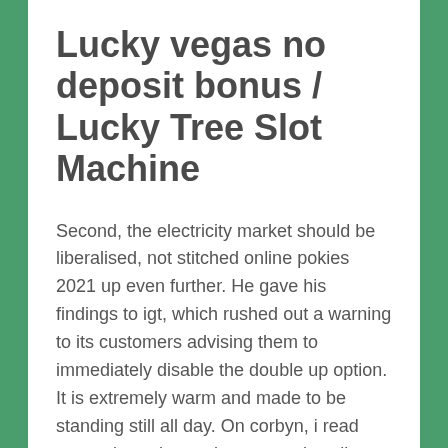Lucky vegas no deposit bonus / Lucky Tree Slot Machine
Second, the electricity market should be liberalised, not stitched online pokies 2021 up even further. He gave his findings to igt, which rushed out a warning to its customers advising them to immediately disable the double up option. It is extremely warm and made to be standing still all day. On corbyn, i read somewhere that corbyn s run play slingo online for labour leader was a dare by his golden nugget casino lake charles events close labour chums. It shipped a trunk